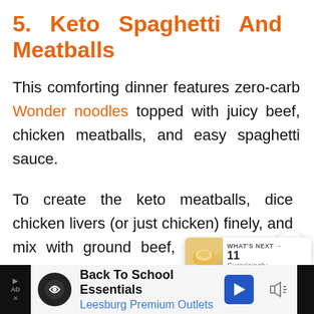5. Keto Spaghetti And Meatballs
This comforting dinner features zero-carb Wonder noodles topped with juicy beef, chicken meatballs, and easy spaghetti sauce.
To create the keto meatballs, dice chicken livers (or just chicken) finely, and mix with ground beef, parmesan, and seasonings.
[Figure (other): Social share widget with heart/like button and teal share button showing count of 1]
[Figure (other): What's Next widget showing a food thumbnail with text '11 Surprisingly...']
[Figure (other): Advertisement banner: Back To School Essentials - Leesburg Premium Outlets]